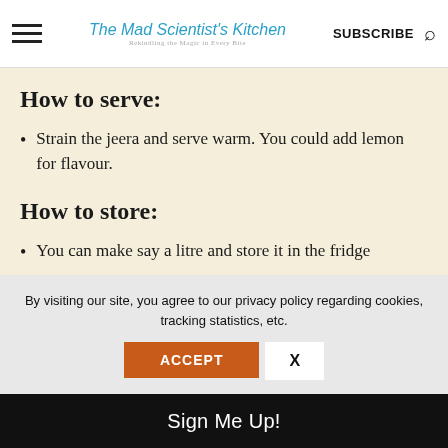The Mad Scientist's Kitchen | SUBSCRIBE
How to serve:
Strain the jeera and serve warm. You could add lemon for flavour.
How to store:
You can make say a litre and store it in the fridge
By visiting our site, you agree to our privacy policy regarding cookies, tracking statistics, etc.
ACCEPT | X
Sign Me Up!